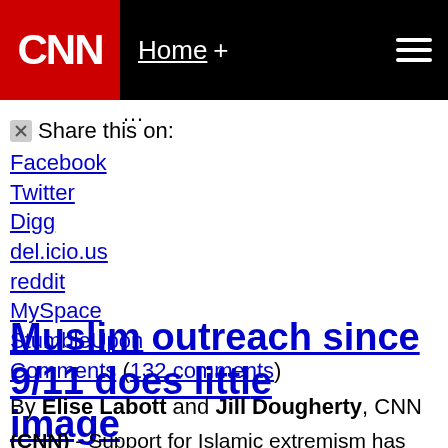CNN | Home +
⊠ Share this on: Facebook Twitter Digg del.icio.us reddit MySpace StumbleUpon Comments (132 comments)
Muslim outreach since 9/11 does little image
By Elise Labott and Jill Dougherty, CNN
(CNN) - Support for Islamic extremism has seen a very sign terrorist attacks against the United States on September 11 bin Laden was killed by U.S. Navy Seals in May, he and his